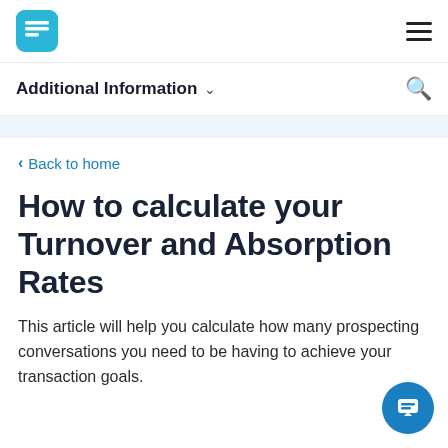Additional Information
Back to home
How to calculate your Turnover and Absorption Rates
This article will help you calculate how many prospecting conversations you need to be having to achieve your transaction goals.